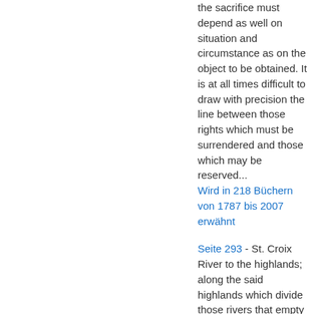the sacrifice must depend as well on situation and circumstance as on the object to be obtained. It is at all times difficult to draw with precision the line between those rights which must be surrendered and those which may be reserved...
Wird in 218 Büchern von 1787 bis 2007 erwähnt
Seite 293 - St. Croix River to the highlands; along the said highlands which divide those rivers that empty themselves into the river St. Lawrence, from those which fall into the Atlantic Ocean, to the